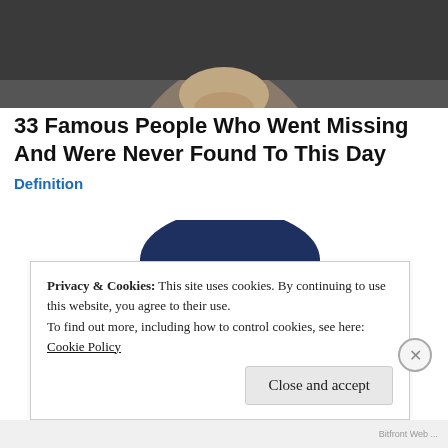[Figure (photo): Cropped black and white photograph of a person, only lower face and collar visible at top of page]
33 Famous People Who Went Missing And Were Never Found To This Day
Definition
[Figure (illustration): Illustrated portrait of the Quaker Oats man — an elderly smiling figure with white curly hair wearing a large dark blue wide-brimmed hat]
Privacy & Cookies: This site uses cookies. By continuing to use this website, you agree to their use.
To find out more, including how to control cookies, see here: Cookie Policy
Close and accept